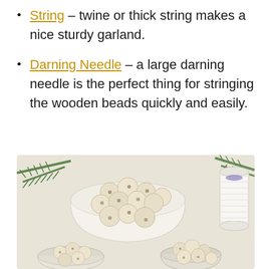String – twine or thick string makes a nice sturdy garland.
Darning Needle – a large darning needle is the perfect thing for stringing the wooden beads quickly and easily.
[Figure (photo): Overhead photo of wooden craft beads in white ceramic bowls and glass containers, with a spool of white twine and pine branches in the background on a white surface.]